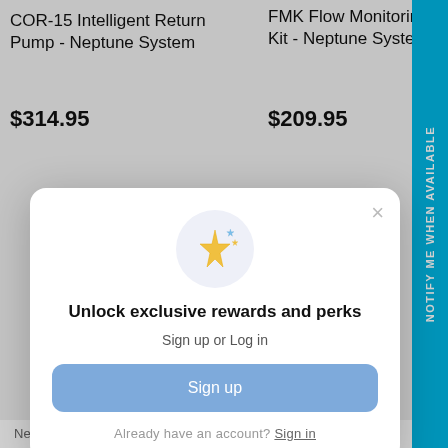COR-15 Intelligent Return Pump - Neptune System
$314.95
FMK Flow Monitoring Kit - Neptune System
$209.95
NOTIFY ME WHEN AVAILABLE
[Figure (screenshot): Modal dialog with sparkle emoji icon, title 'Unlock exclusive rewards and perks', subtitle 'Sign up or Log in', a 'Sign up' button, and 'Already have an account? Sign in' footer text]
Unlock exclusive rewards and perks
Sign up or Log in
Sign up
Already have an account? Sign in
Neptune Systems
System